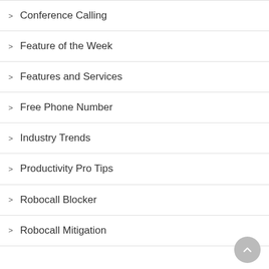Conference Calling
Feature of the Week
Features and Services
Free Phone Number
Industry Trends
Productivity Pro Tips
Robocall Blocker
Robocall Mitigation